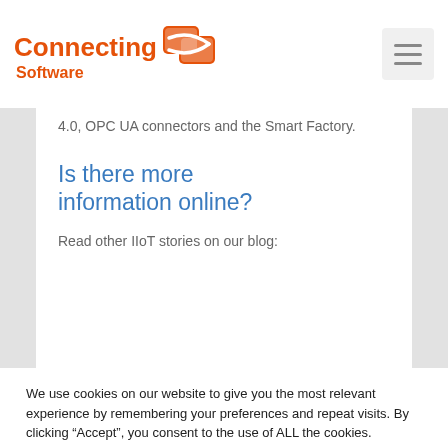Connecting Software
4.0, OPC UA connectors and the Smart Factory.
Is there more information online?
Read other IIoT stories on our blog:
We use cookies on our website to give you the most relevant experience by remembering your preferences and repeat visits. By clicking “Accept”, you consent to the use of ALL the cookies.
Cookie settings  ACCEPT